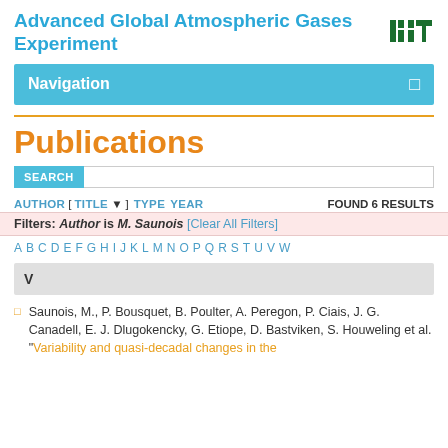Advanced Global Atmospheric Gases Experiment
Navigation
Publications
SEARCH
AUTHOR [ TITLE ] TYPE YEAR  FOUND 6 RESULTS
Filters: Author is M. Saunois [Clear All Filters]
A B C D E F G H I J K L M N O P Q R S T U V W
V
Saunois, M., P. Bousquet, B. Poulter, A. Peregon, P. Ciais, J. G. Canadell, E. J. Dlugokencky, G. Etiope, D. Bastviken, S. Houweling et al. "Variability and quasi-decadal changes in the